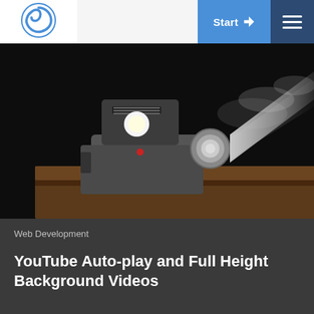[Figure (logo): Circular swirl logo in blue on white background]
Start
[Figure (photo): Vintage film projector projecting a beam of light with smoke in a dark room]
Web Development
YouTube Auto-play and Full Height Background Videos